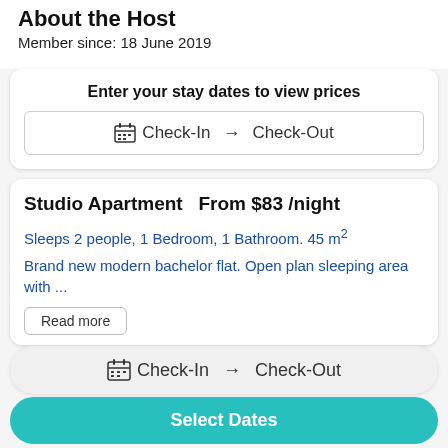About the Host
Member since: 18 June 2019
Enter your stay dates to view prices
Check-In → Check-Out
Studio Apartment  From $83 /night
Sleeps 2 people, 1 Bedroom, 1 Bathroom. 45 m²
Brand new modern bachelor flat. Open plan sleeping area with ...
Read more
Check-In → Check-Out
Select Dates